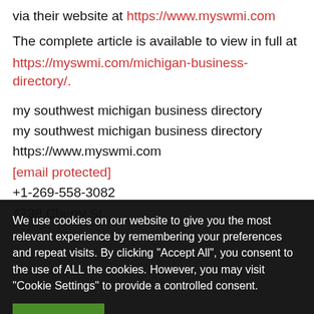via their website at https://www.myswmi.com
The complete article is available to view in full at https://myswmi.com/michigan-business-directory/.
my southwest michigan business directory
my southwest michigan business directory
https://www.myswmi.com
[email protected]
+1-269-558-3082
4738 Cherry St
We use cookies on our website to give you the most relevant experience by remembering your preferences and repeat visits. By clicking "Accept All", you consent to the use of ALL the cookies. However, you may visit "Cookie Settings" to provide a controlled consent.
Accept All